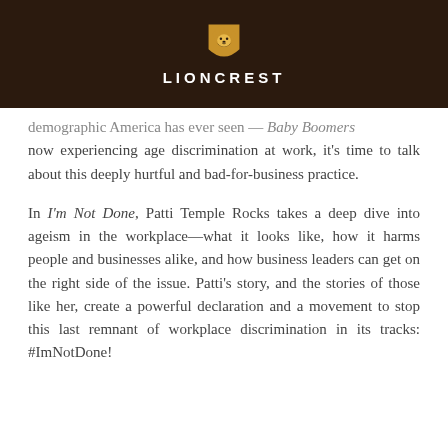LIONCREST
demographic America has ever seen — Baby Boomers now experiencing age discrimination at work, it's time to talk about this deeply hurtful and bad-for-business practice.
In I'm Not Done, Patti Temple Rocks takes a deep dive into ageism in the workplace—what it looks like, how it harms people and businesses alike, and how business leaders can get on the right side of the issue. Patti's story, and the stories of those like her, create a powerful declaration and a movement to stop this last remnant of workplace discrimination in its tracks: #ImNotDone!